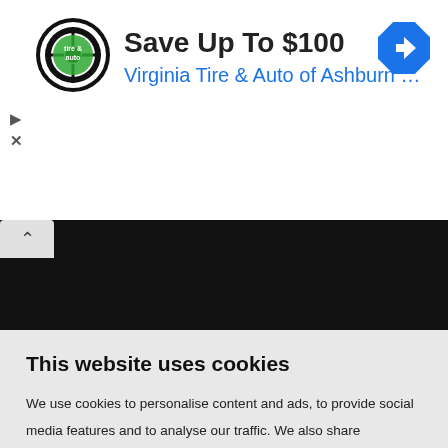[Figure (logo): Virginia Tire & Auto circular logo with tire image and green text]
Save Up To $100
Virginia Tire & Auto of Ashburn …
[Figure (other): Blue diamond navigation/directions icon]
[Figure (other): Black collapsed content bar with white collapse/chevron tab]
This website uses cookies
We use cookies to personalise content and ads, to provide social media features and to analyse our traffic. We also share information about your use of our site with our social media, advertising and analytics partners who may combine it with other information that you've provided to them or that they've collected from your use of their services
OK